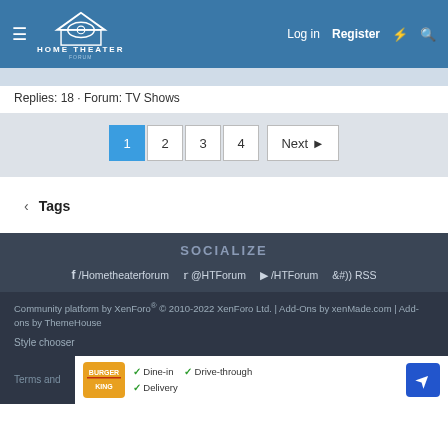HOME THEATER FORUM — Log in | Register
Replies: 18 · Forum: TV Shows
Pagination: 1 2 3 4 Next
Tags
SOCIALIZE
/Hometheaterforum  @HTForum  /HTForum  RSS
Community platform by XenForo® © 2010-2022 XenForo Ltd. | Add-Ons by xenMade.com | Add-ons by ThemeHouse
Style chooser
Terms and
[Figure (infographic): Burger King advertisement with Dine-in, Drive-through, Delivery checkmarks and direction arrow icon]